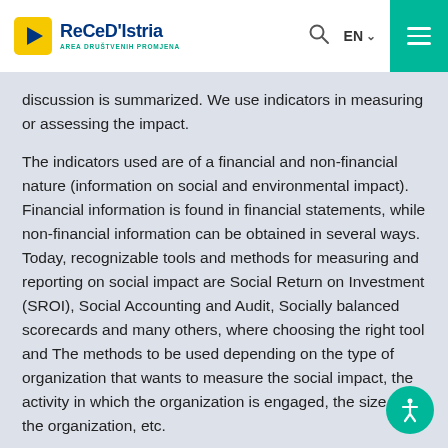ReCeD'Istria — AREA DRUŠTVENIH PROMJENA — EN
discussion is summarized. We use indicators in measuring or assessing the impact.
The indicators used are of a financial and non-financial nature (information on social and environmental impact). Financial information is found in financial statements, while non-financial information can be obtained in several ways. Today, recognizable tools and methods for measuring and reporting on social impact are Social Return on Investment (SROI), Social Accounting and Audit, Socially balanced scorecards and many others, where choosing the right tool and The methods to be used depending on the type of organization that wants to measure the social impact, the activity in which the organization is engaged, the size of the organization, etc.